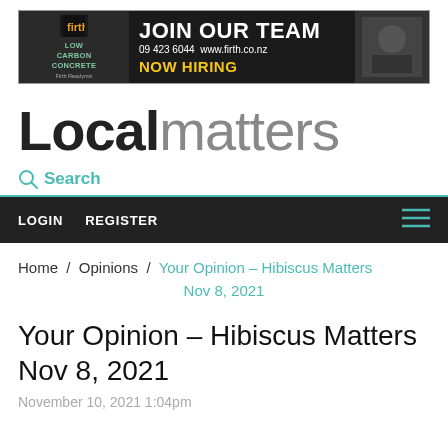[Figure (infographic): Advertisement banner for Firth Readymix - Low Carbon Concrete. Text: JOIN OUR TEAM, 09 423 6044, www.firth.co.nz, NOW HIRING]
Localmatters
Search
LOGIN   REGISTER
Home / Opinions / Your Opinion – Hibiscus Matters Nov 8, 2021
Your Opinion – Hibiscus Matters Nov 8, 2021
November 10, 2021 1:04pm